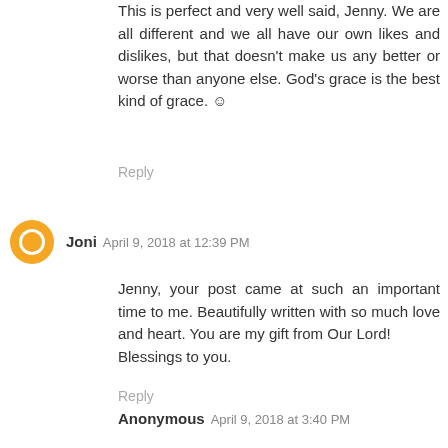This is perfect and very well said, Jenny. We are all different and we all have our own likes and dislikes, but that doesn't make us any better or worse than anyone else. God's grace is the best kind of grace. ☺
Reply
Joni  April 9, 2018 at 12:39 PM
Jenny, your post came at such an important time to me. Beautifully written with so much love and heart. You are my gift from Our Lord!
Blessings to you.
Reply
Anonymous  April 9, 2018 at 3:40 PM
This is beautiful Jenny!
It fits so perfectly with a quote I found just recently and love very much. I will share it here:
"Before you judge my life, my past or my character. Walk in